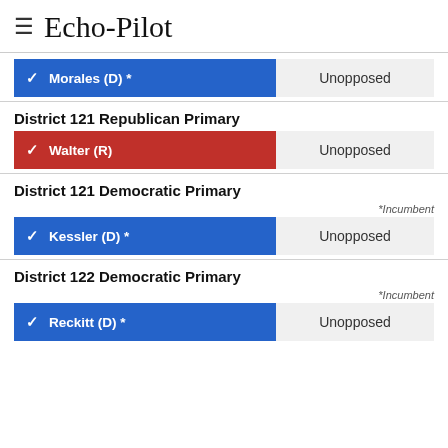Echo-Pilot
Morales (D) * — Unopposed
District 121 Republican Primary
Walter (R) — Unopposed
District 121 Democratic Primary
*Incumbent
Kessler (D) * — Unopposed
District 122 Democratic Primary
*Incumbent
Reckitt (D) * — Unopposed